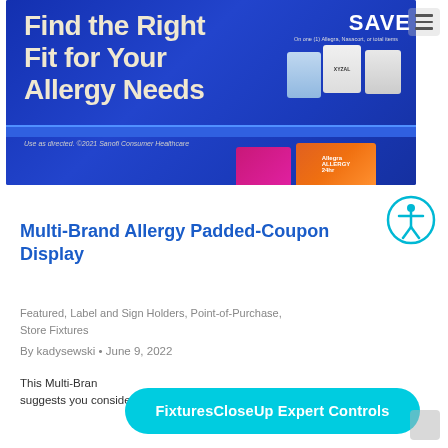[Figure (photo): Blue retail display for allergy products. Text reads 'Find the Right Fit for Your Allergy Needs' and 'SAVE' with Allegra/Nasacort product boxes visible. Small text: 'Use as directed. ©2021 Sanofi Consumer Healthcare'. Bottom shelf shows colorful allergy medication packages.]
Multi-Brand Allergy Padded-Coupon Display
Featured, Label and Sign Holders, Point-of-Purchase, Store Fixtures
By kadysewski • June 9, 2022
This Multi-Bran… suggests you consider your treatment options.
FixturesCloseUp Expert Controls